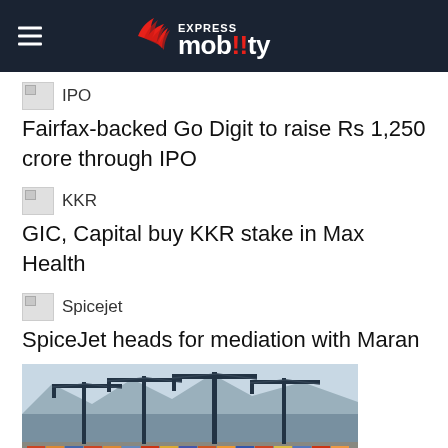Express Mobility
[Figure (illustration): Small IPO thumbnail image placeholder]
Fairfax-backed Go Digit to raise Rs 1,250 crore through IPO
[Figure (illustration): Small KKR thumbnail image placeholder]
GIC, Capital buy KKR stake in Max Health
[Figure (illustration): Small Spicejet thumbnail image placeholder]
SpiceJet heads for mediation with Maran
[Figure (photo): Container ship port with large blue cranes and colorful shipping containers]